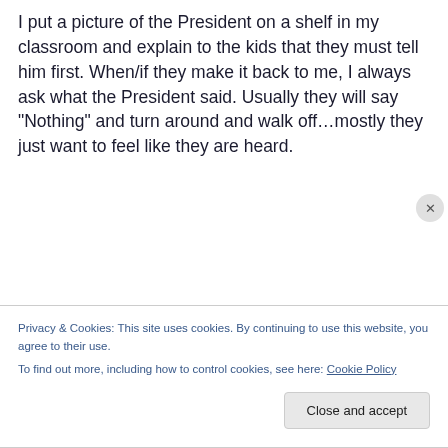I put a picture of the President on a shelf in my classroom and explain to the kids that they must tell him first. When/if they make it back to me, I always ask what the President said. Usually they will say “Nothing” and turn around and walk off…mostly they just want to feel like they are heard.
Privacy & Cookies: This site uses cookies. By continuing to use this website, you agree to their use. To find out more, including how to control cookies, see here: Cookie Policy
Close and accept